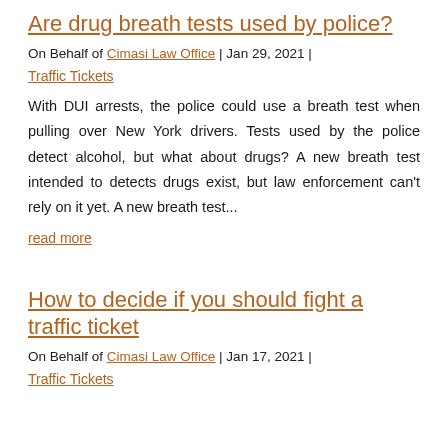Are drug breath tests used by police?
On Behalf of Cimasi Law Office | Jan 29, 2021 |
Traffic Tickets
With DUI arrests, the police could use a breath test when pulling over New York drivers. Tests used by the police detect alcohol, but what about drugs? A new breath test intended to detects drugs exist, but law enforcement can't rely on it yet. A new breath test...
read more
How to decide if you should fight a traffic ticket
On Behalf of Cimasi Law Office | Jan 17, 2021 |
Traffic Tickets